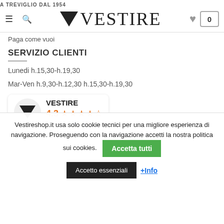A TREVIGLIO DAL 1954 — VESTIRE
Paga come vuoi
SERVIZIO CLIENTI
Lunedi h.15,30-h.19,30
Mar-Ven h.9,30-h.12,30 h.15,30-h.19,30
[Figure (logo): VESTIRE brand logo with downward triangle, rating 4.3 stars, powered by Google]
Vestireshop.it usa solo cookie tecnici per una migliore esperienza di navigazione. Proseguendo con la navigazione accetti la nostra politica sui cookies.